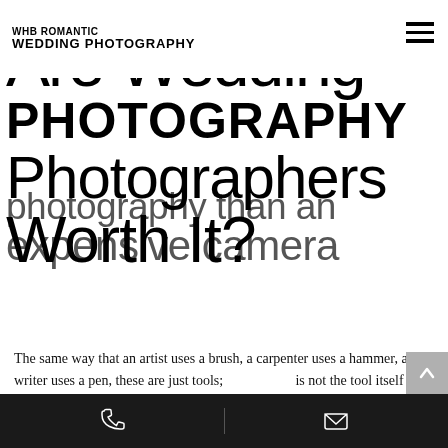WHB ROMANTIC WEDDING PHOTOGRAPHY
Are Wedding Photographers Worth It?
photography than an expensive camera
The same way that an artist uses a brush, a carpenter uses a hammer, and a writer uses a pen, these are just tools; is not the tool itself but
[Figure (other): Google Rating popup showing 5.0 stars based on 267 reviews with Google G logo and green top border]
er with little experience to construct your house just because they have all the
Phone and email contact icons on dark bottom bar